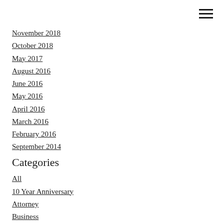November 2018
October 2018
May 2017
August 2016
June 2016
May 2016
April 2016
March 2016
February 2016
September 2014
Categories
All
10 Year Anniversary
Attorney
Business
Conservatorship